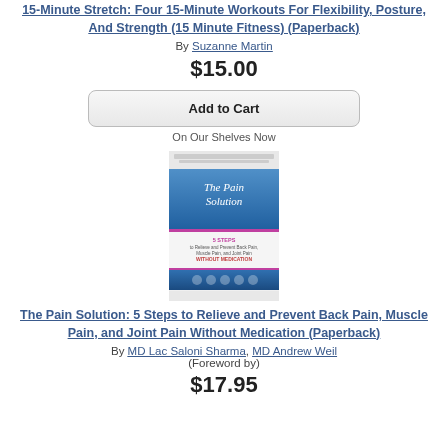15-Minute Stretch: Four 15-Minute Workouts For Flexibility, Posture, And Strength (15 Minute Fitness) (Paperback)
By Suzanne Martin
$15.00
Add to Cart
On Our Shelves Now
[Figure (photo): Book cover of The Pain Solution: 5 Steps to Relieve and Prevent Back Pain, Muscle Pain, and Joint Pain Without Medication by Saloni Sharma MD, Foreword by Andrew Weil MD]
The Pain Solution: 5 Steps to Relieve and Prevent Back Pain, Muscle Pain, and Joint Pain Without Medication (Paperback)
By MD Lac Saloni Sharma, MD Andrew Weil (Foreword by)
$17.95